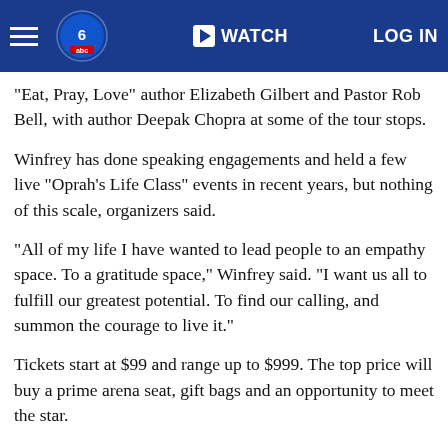WATCH | LOG IN
"Eat, Pray, Love" author Elizabeth Gilbert and Pastor Rob Bell, with author Deepak Chopra at some of the tour stops.
Winfrey has done speaking engagements and held a few live "Oprah's Life Class" events in recent years, but nothing of this scale, organizers said.
"All of my life I have wanted to lead people to an empathy space. To a gratitude space," Winfrey said. "I want us all to fulfill our greatest potential. To find our calling, and summon the courage to live it."
Tickets start at $99 and range up to $999. The top price will buy a prime arena seat, gift bags and an opportunity to meet the star.
Winfrey will talk on Friday night in each city, with Saturdays